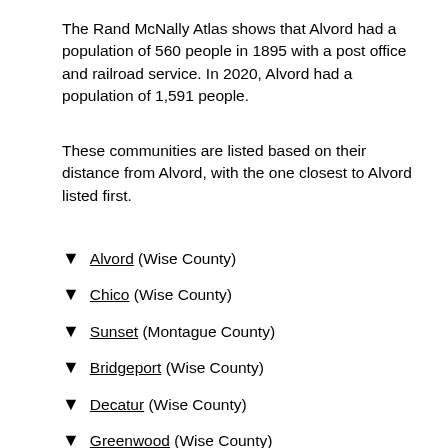The Rand McNally Atlas shows that Alvord had a population of 560 people in 1895 with a post office and railroad service. In 2020, Alvord had a population of 1,591 people.
These communities are listed based on their distance from Alvord, with the one closest to Alvord listed first.
▼ Alvord (Wise County)
▼ Chico (Wise County)
▼ Sunset (Montague County)
▼ Bridgeport (Wise County)
▼ Decatur (Wise County)
▼ Greenwood (Wise County)
▼ Crafton (Wise County)